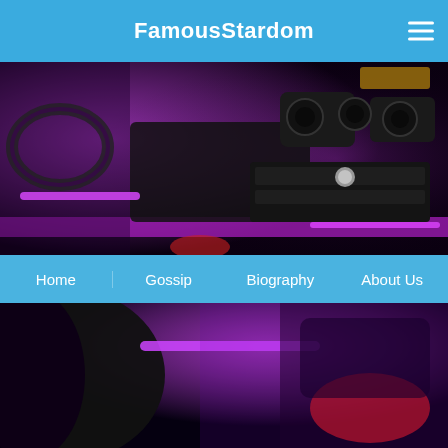FamousStardom
[Figure (photo): Car interior with purple/magenta ambient lighting, steering wheel, dashboard with vents and controls, dark leather seats]
Home  Gossip  Biography  About Us
[Figure (photo): Car interior close-up with purple ambient lighting, dark headrest and seat with red accent visible]